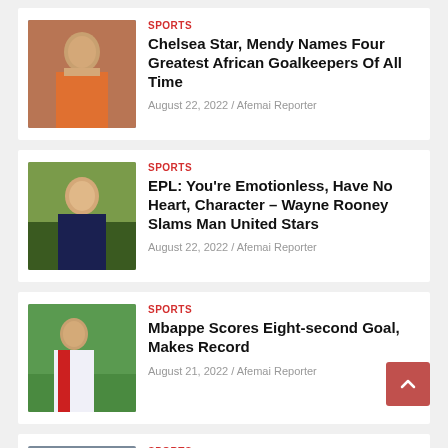[Figure (photo): Chelsea goalkeeper Mendy in orange jersey]
SPORTS
Chelsea Star, Mendy Names Four Greatest African Goalkeepers Of All Time
August 22, 2022 / Afemai Reporter
[Figure (photo): Wayne Rooney in dark jacket on pitch]
SPORTS
EPL: You're Emotionless, Have No Heart, Character – Wayne Rooney Slams Man United Stars
August 22, 2022 / Afemai Reporter
[Figure (photo): Mbappe in PSG kit dribbling]
SPORTS
Mbappe Scores Eight-second Goal, Makes Record
August 21, 2022 / Afemai Reporter
[Figure (photo): Coach portrait partially visible]
SPORTS
EPL: Leeds Coach Names Chelsea